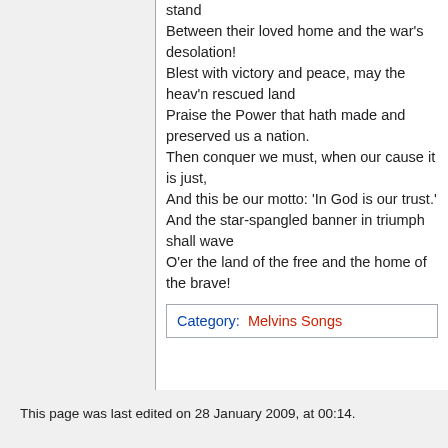stand
Between their loved home and the war's desolation!
Blest with victory and peace, may the heav'n rescued land
Praise the Power that hath made and preserved us a nation.
Then conquer we must, when our cause it is just,
And this be our motto: 'In God is our trust.'
And the star-spangled banner in triumph shall wave
O'er the land of the free and the home of the brave!
Category:  Melvins Songs
This page was last edited on 28 January 2009, at 00:14.